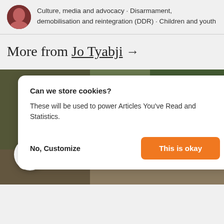Culture, media and advocacy · Disarmament, demobilisation and reintegration (DDR) · Children and youth
More from Jo Tyabji →
[Figure (screenshot): Cookie consent modal dialog with 'Can we store cookies?' heading, body text 'These will be used to power Articles You've Read and Statistics.', 'No, Customize' link and 'This is okay' orange button. Below is a background photo of a crowd of people outdoors, and an orange toggle switch circle in the bottom left.]